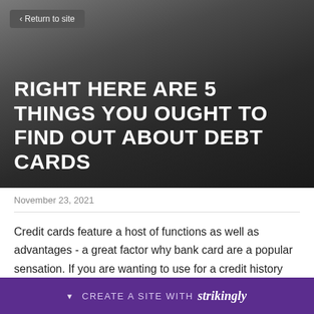< Return to site
RIGHT HERE ARE 5 THINGS YOU OUGHT TO FIND OUT ABOUT DEBT CARDS
November 23, 2021
Credit cards feature a host of functions as well as advantages - a great factor why bank card are a popular sensation. If you are wanting to use for a credit history card anytime quickly, right to know a
CREATE A SITE WITH strikingly